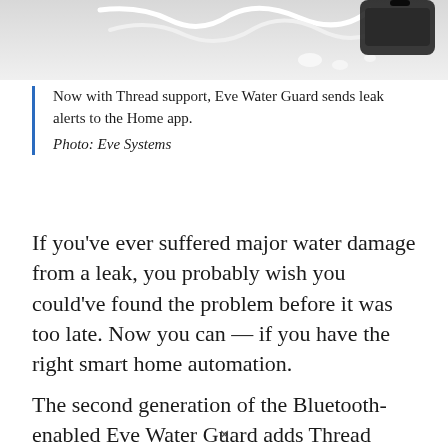[Figure (photo): Partial photo of Eve Water Guard device with white cable/cord and a smartphone visible, cropped at top of page]
Now with Thread support, Eve Water Guard sends leak alerts to the Home app. Photo: Eve Systems
If you've ever suffered major water damage from a leak, you probably wish you could've found the problem before it was too late. Now you can — if you have the right smart home automation.
The second generation of the Bluetooth-enabled Eve Water Guard adds Thread networking